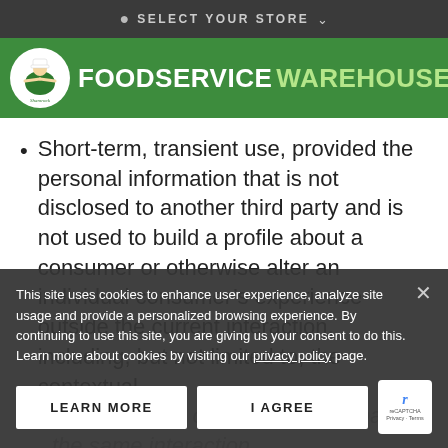SELECT YOUR STORE
[Figure (logo): Shamrock Foodservice Warehouse logo — green circle with chef illustration, brand name FOODSERVICE WAREHOUSE in white and light green text]
Short-term, transient use, provided the personal information that is not disclosed to another third party and is not used to build a profile about a consumer or otherwise alter an individual consumer's experience outside the current interaction, including, but not limited to, the contextual customization of ads shown as part of the same interaction.
Providing service on behalf of the business or service provider, including maintaining or servicing accounts, providing customer service, processing or fulfilling orders and transactions, verifying customer information, processing...
This site uses cookies to enhance user experience, analyze site usage and provide a personalized browsing experience. By continuing to use this site, you are giving us your consent to do this. Learn more about cookies by visiting our privacy policy page.